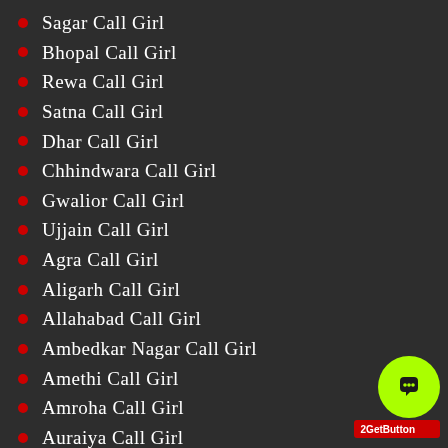Sagar Call Girl
Bhopal Call Girl
Rewa Call Girl
Satna Call Girl
Dhar Call Girl
Chhindwara Call Girl
Gwalior Call Girl
Ujjain Call Girl
Agra Call Girl
Aligarh Call Girl
Allahabad Call Girl
Ambedkar Nagar Call Girl
Amethi Call Girl
Amroha Call Girl
Auraiya Call Girl
Azamgarh Call Girl
Badaun Call Girl
Baghpat Call Girl
Bahraich Call Girl
Ballia Call Girl